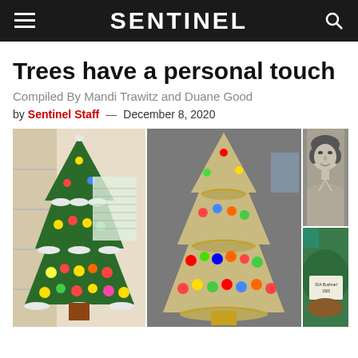SENTINEL
Trees have a personal touch
Compiled By Mandi Trawitz and Duane Good
by Sentinel Staff — December 8, 2020
[Figure (photo): Three photos: two ceramic Christmas trees with colorful lights, a vintage black-and-white portrait of a woman, and a close-up of what appears to be a label or tag on a green ceramic piece.]